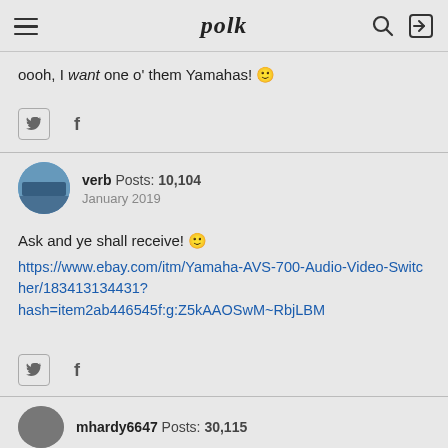polk
oooh, I want one o' them Yamahas! 🙂
verb  Posts: 10,104  January 2019
Ask and ye shall receive! 🙂
https://www.ebay.com/itm/Yamaha-AVS-700-Audio-Video-Switcher/183413134431?hash=item2ab446545f:g:Z5kAAOSwM~RbjLBM
mhardy6647  Posts: 30,115